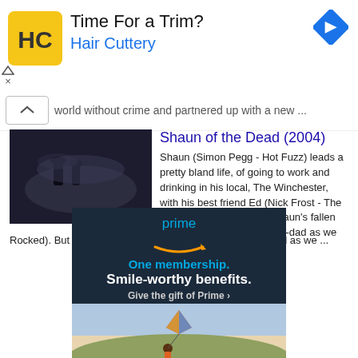[Figure (illustration): Hair Cuttery advertisement banner with yellow/black HC logo, text 'Time For a Trim?' and 'Hair Cuttery' in blue, blue diamond navigation icon top right]
world without crime and partnered up with a new ...
Shaun of the Dead (2004)
[Figure (photo): Movie still from Shaun of the Dead showing two figures in dark/smoky outdoor scene]
Shaun (Simon Pegg - Hot Fuzz) leads a pretty bland life, of going to work and drinking in his local, The Winchester, with his best friend Ed (Nick Frost - The Boat That Rocked). But Shaun's fallen out with him Mum and Step-dad as we ...
[Figure (screenshot): Amazon Prime advertisement with dark blue background. Text: 'prime', Amazon smile logo, 'One membership. Smile-worthy benefits. Give the gift of Prime ›', with colorful image of person with kite at bottom]